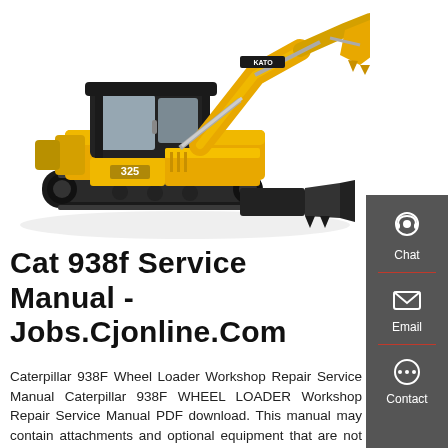[Figure (photo): Yellow mini excavator (KATO brand, model 325) with rubber tracks, cab, articulated arm and bucket, photographed on white background from the left-front side.]
Cat 938f Service Manual - Jobs.Cjonline.Com
Caterpillar 938F Wheel Loader Workshop Repair Service Manual Caterpillar 938F WHEEL LOADER Workshop Repair Service Manual PDF download. This manual may contain attachments and optional equipment that are not available in your area. Please